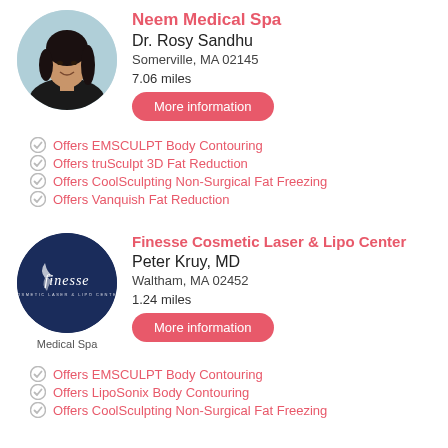[Figure (photo): Circular profile photo of Dr. Rosy Sandhu, a woman with dark hair, smiling]
Neem Medical Spa
Dr. Rosy Sandhu
Somerville, MA 02145
7.06 miles
More information
Offers EMSCULPT Body Contouring
Offers truSculpt 3D Fat Reduction
Offers CoolSculpting Non-Surgical Fat Freezing
Offers Vanquish Fat Reduction
[Figure (logo): Circular dark navy logo for Finesse Cosmetic Laser & Lipo Center with white script text 'finesse']
Finesse Cosmetic Laser & Lipo Center
Peter Kruy, MD
Waltham, MA 02452
1.24 miles
More information
Medical Spa
Offers EMSCULPT Body Contouring
Offers LipoSonix Body Contouring
Offers CoolSculpting Non-Surgical Fat Freezing